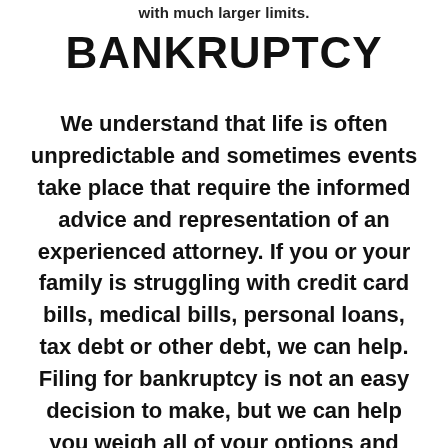with much larger limits.
BANKRUPTCY
We understand that life is often unpredictable and sometimes events take place that require the informed advice and representation of an experienced attorney. If you or your family is struggling with credit card bills, medical bills, personal loans, tax debt or other debt, we can help. Filing for bankruptcy is not an easy decision to make, but we can help you weigh all of your options and make an informed choice on how to shape your financial future